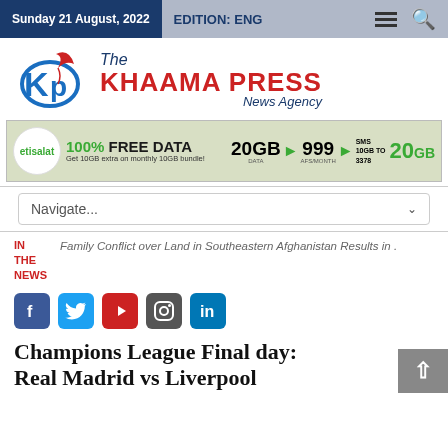Sunday 21 August, 2022  EDITION: ENG
[Figure (logo): The Khaama Press News Agency logo with KP letter mark and red feather]
[Figure (infographic): Etisalat advertisement: 100% FREE DATA, 20GB DATA 999 AFS/MONTH, SMS 10GB TO 3378, 20GB]
Navigate...
IN THE NEWS  Family Conflict over Land in Southeastern Afghanistan Results in .
[Figure (infographic): Social media icons: Facebook, Twitter, YouTube, Instagram, LinkedIn]
Champions League Final day: Real Madrid vs Liverpool